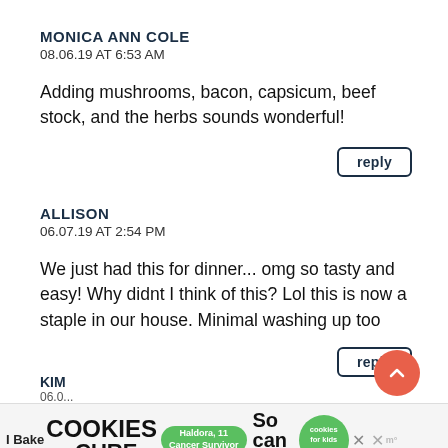MONICA ANN COLE
08.06.19 AT 6:53 AM
Adding mushrooms, bacon, capsicum, beef stock, and the herbs sounds wonderful!
reply
ALLISON
06.07.19 AT 2:54 PM
We just had this for dinner... omg so tasty and easy! Why didnt I think of this? Lol this is now a staple in our house. Minimal washing up too
reply
KIM
06.0...
[Figure (screenshot): Advertisement banner: I Bake COOKIES For A CURE with Haldora, 11 Cancer Survivor, So can you! cookies for kids cancer, close buttons]